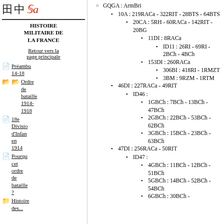[Figure (logo): Site logo with grid, kanji, and red italic letter]
Histoire militaire de la France
Retour vers la page principale
Préambu 14-18
Ordre de bataille 1914-1918
18e Division d'Infan en 1914
Pourqu cet ordre de bataille ?
Histoire des...
GQGA : ArmBri
10A : 219RACa - 322RIT - 28BTS - 64BTS
20CA : 5RH - 60RACa - 142RIT - 20BG
11DI : 8RACa
ID11 : 26RI - 69RI - 2BCh - 4BCh
153DI : 260RACa
306BI : 418RI - 1RMZT
3BM : 9RZM - 1RTM
46DI : 227RACa - 49RIT
ID46 :
1GBCh : 7BCh - 13BCh - 47BCh
2GBCh : 22BCh - 53BCh - 62BCh
3GBCh : 15BCh - 23BCh - 63BCh
47DI : 256RACa - 50RIT
ID47 :
4GBCh : 11BCh - 12BCh - 51BCh
5GBCh : 14BCh - 52BCh - 54BCh
6GBCh : 30BCh -